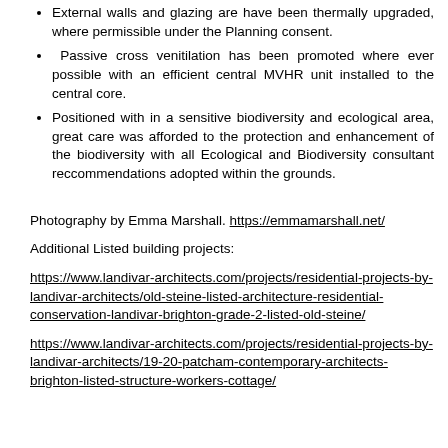External walls and glazing are have been thermally upgraded, where permissible under the Planning consent.
Passive cross venitilation has been promoted where ever possible with an efficient central MVHR unit installed to the central core.
Positioned with in a sensitive biodiversity and ecological area, great care was afforded to the protection and enhancement of the biodiversity with all Ecological and Biodiversity consultant reccommendations adopted within the grounds.
Photography by Emma Marshall. https://emmamarshall.net/
Additional Listed building projects:
https://www.landivar-architects.com/projects/residential-projects-by-landivar-architects/old-steine-listed-architecture-residential-conservation-landivar-brighton-grade-2-listed-old-steine/
https://www.landivar-architects.com/projects/residential-projects-by-landivar-architects/19-20-patcham-contemporary-architects-brighton-listed-structure-workers-cottage/